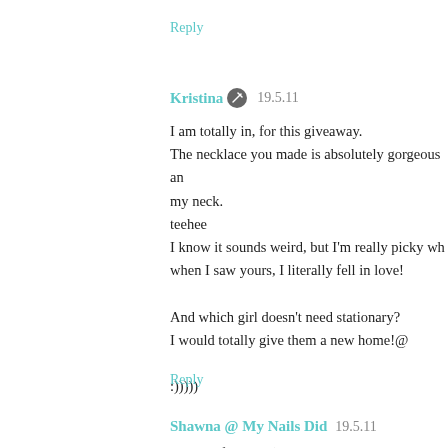Reply
Kristina  19.5.11
I am totally in, for this giveaway.
The necklace you made is absolutely gorgeous and my neck.
teehee
I know it sounds weird, but I'm really picky whe when I saw yours, I literally fell in love!

And which girl doesn't need stationary?
I would totally give them a new home!@

:)))))
Reply
Shawna @ My Nails Did  19.5.11
FR'd it of course :)